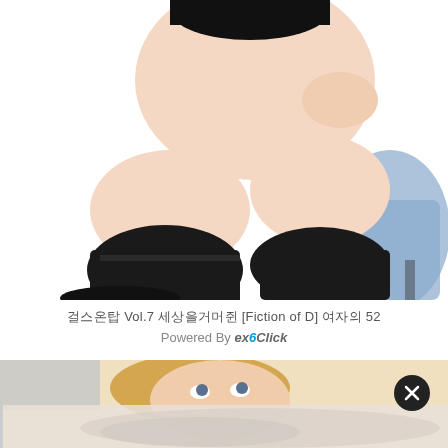[Figure (photo): Photo of person's legs wearing black thigh-high socks, sitting on a blue chair, white background]
걸스온탑 Vol.7 세상을거머쥔 [Fiction of D] 여자의 52
Powered By exoClick
[Figure (photo): Photo of a woman with blonde hair looking up, partially obscured, with a close-up second image below]
[Figure (other): Close button (X) circle in dark/black]